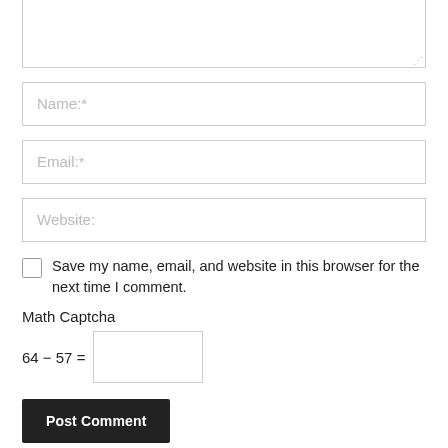[Figure (screenshot): Text area input field (partial, top of page) with resize handle at bottom right]
Name:*
Email:*
Website:
Save my name, email, and website in this browser for the next time I comment.
Math Captcha
64 − 57 =
Post Comment